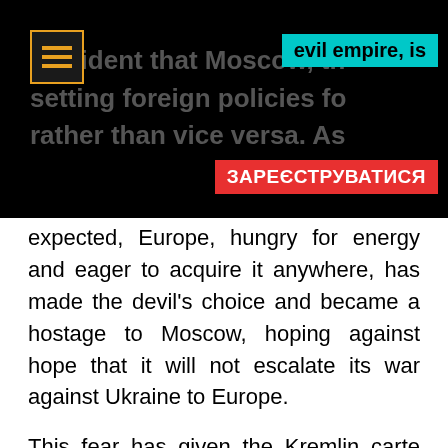[Figure (other): Dark top banner with overlay text showing partial article content, hamburger menu icon with orange border, cyan 'evil empire' label, and red 'ЗАРЕЄСТРУВАТИСЯ' (Register) button overlaid]
expected, Europe, hungry for energy and eager to acquire it anywhere, has made the devil's choice and became a hostage to Moscow, hoping against hope that it will not escalate its war against Ukraine to Europe.
This fear has given the Kremlin carte blanche to ride roughshod over the international community, disregarding everyone's concerns, admonishments and sanctions. Iuliia Mendel, President Zelenskyy's former press secretary, recently correctly pointed out that Moscow is the root of global instability. "However, when it comes